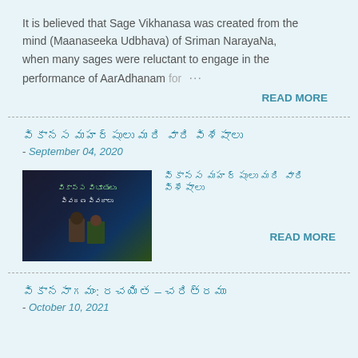It is believed that Sage Vikhanasa was created from the mind (Maanaseeka Udbhava) of Sriman NarayaNa, when many sages were reluctant to engage in the performance of AarAdhanam for …
READ MORE
వికానస మహర్షులు మరి వారి విశేషాలు
- September 04, 2020
[Figure (photo): Thumbnail image with Telugu text overlay on dark background with figures]
వికానస మహర్షులు మరి వారి విశేషాలు
READ MORE
వికానసాగమం: రచయిత - చరిత్రము
- October 10, 2021